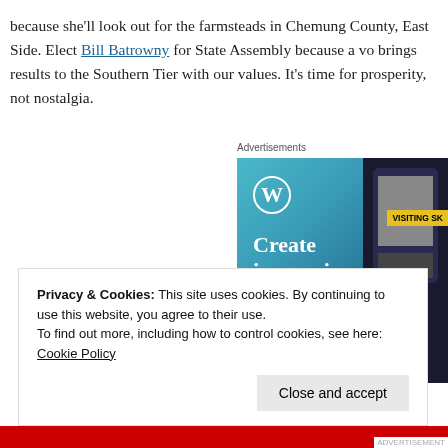because she'll look out for the farmsteads in Chemung County, East Side. Elect Bill Batrowny for State Assembly because a vo brings results to the Southern Tier with our values. It's time for prosperity, not nostalgia.
Advertisements
[Figure (photo): WordPress advertisement showing 'Create immersive stories.' with the WordPress logo and a phone mockup with 'VISITING SK' badge overlay on a blue-green gradient background.]
Privacy & Cookies: This site uses cookies. By continuing to use this website, you agree to their use.
To find out more, including how to control cookies, see here: Cookie Policy